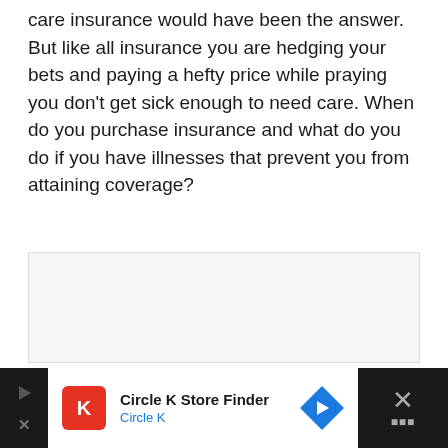care insurance would have been the answer. But like all insurance you are hedging your bets and paying a hefty price while praying you don't get sick enough to need care. When do you purchase insurance and what do you do if you have illnesses that prevent you from attaining coverage?
[Figure (other): Gray placeholder advertisement or media box]
[Figure (infographic): Advertisement banner for Circle K Store Finder app with Circle K logo, navigation arrow icon, and close (X) button on dark background]